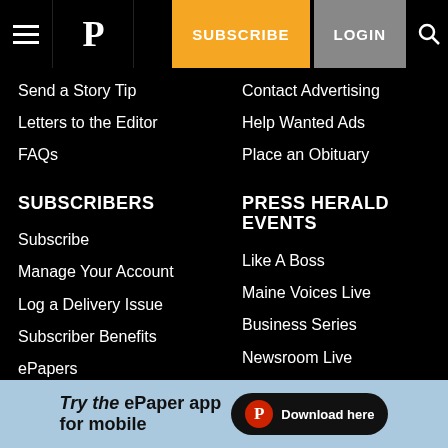SUBSCRIBE LOGIN
Send a Story Tip
Contact Advertising
Letters to the Editor
Help Wanted Ads
FAQs
Place an Obituary
SUBSCRIBERS
PRESS HERALD EVENTS
Subscribe
Like A Boss
Manage Your Account
Maine Voices Live
Log a Delivery Issue
Business Series
Subscriber Benefits
Newsroom Live
ePapers
Source Maine Sustainability Awards
Mobile Apps
[Figure (infographic): Advertisement banner: Try the ePaper app for mobile — Download here button with Press Herald logo]